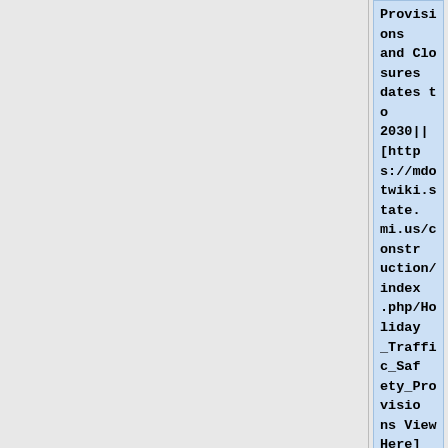Provisions and Closures dates to 2030|| [https://mdotwiki.state.mi.us/construction/index.php/Holiday_Traffic_Safety_Provisions View Here]
|-
| <center>1/4/2022</center>|| <center>1</center>||